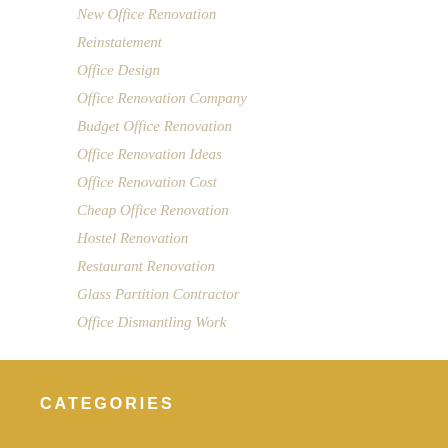New Office Renovation
Reinstatement
Office Design
Office Renovation Company
Budget Office Renovation
Office Renovation Ideas
Office Renovation Cost
Cheap Office Renovation
Hostel Renovation
Restaurant Renovation
Glass Partition Contractor
Office Dismantling Work
CATEGORIES